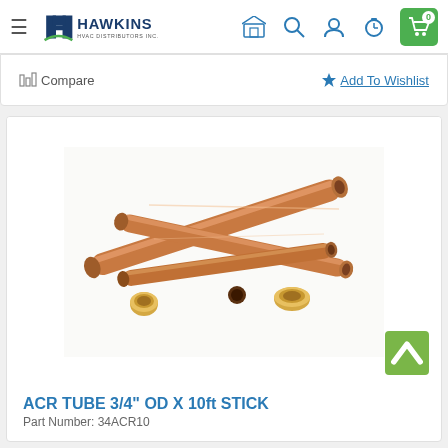Hawkins HVAC Distributors Inc. — navigation header
Compare | Add To Wishlist
[Figure (photo): Copper ACR tubes/pipes crossed and arranged on white background, showing open ends of the tubing]
ACR TUBE 3/4" OD X 10ft STICK
Part Number: 34ACR10